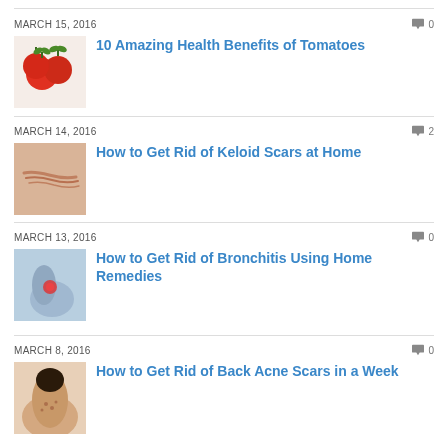MARCH 15, 2016  0
[Figure (photo): Red tomatoes clustered together]
10 Amazing Health Benefits of Tomatoes
MARCH 14, 2016  2
[Figure (photo): Close-up of keloid scar on skin]
How to Get Rid of Keloid Scars at Home
MARCH 13, 2016  0
[Figure (photo): Person holding chest area, bronchitis illustration]
How to Get Rid of Bronchitis Using Home Remedies
MARCH 8, 2016  0
[Figure (photo): Person's back showing acne scars]
How to Get Rid of Back Acne Scars in a Week